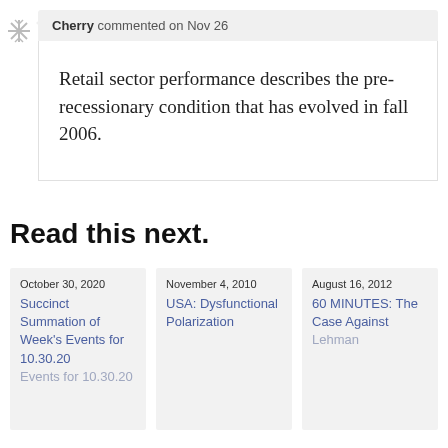Cherry commented on Nov 26
Retail sector performance describes the pre-recessionary condition that has evolved in fall 2006.
Read this next.
October 30, 2020
Succinct Summation of Week's Events for 10.30.20
November 4, 2010
USA: Dysfunctional Polarization
August 16, 2012
60 MINUTES: The Case Against Lehman